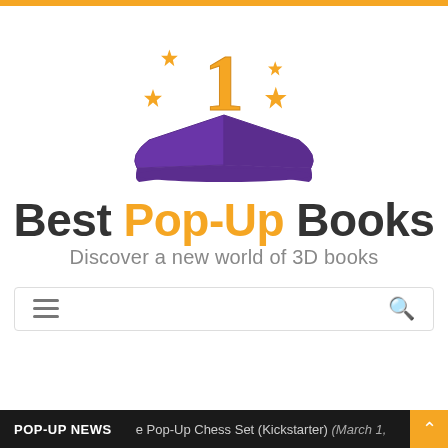[Figure (logo): Best Pop-Up Books logo: an open book in purple with a golden number 1 and stars above it]
Best Pop-Up Books
Discover a new world of 3D books
POP-UP NEWS   e Pop-Up Chess Set (Kickstarter)  (March 1,